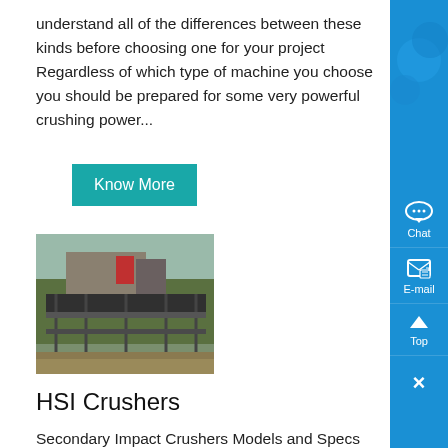understand all of the differences between these kinds before choosing one for your project Regardless of which type of machine you choose you should be prepared for some very powerful crushing power...
[Figure (other): A teal/cyan 'Know More' button]
[Figure (photo): Outdoor photo of a crushing/mining plant with industrial equipment, scaffolding, and trees in the background]
HSI Crushers
Secondary Impact Crushers Models and Specs With the high performance high reduction percentages and perfect cubical-shaped final product AGGRETEK secondary impact crushers are a great economical solution for